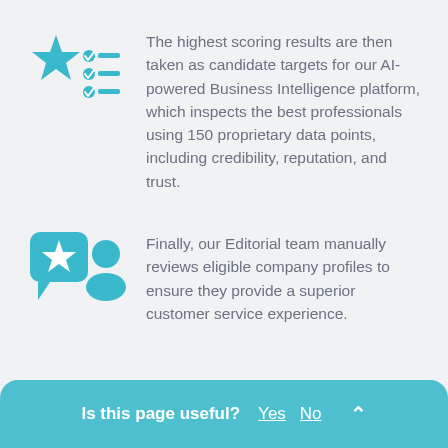[Figure (illustration): Blue star icon with a checklist/lines icon to the right, representing ranking/scoring]
The highest scoring results are then taken as candidate targets for our AI-powered Business Intelligence platform, which inspects the best professionals using 150 proprietary data points, including credibility, reputation, and trust.
[Figure (illustration): Blue chat bubble with a star icon and a person/user silhouette icon, representing editorial review]
Finally, our Editorial team manually reviews eligible company profiles to ensure they provide a superior customer service experience.
Is this page useful? Yes No